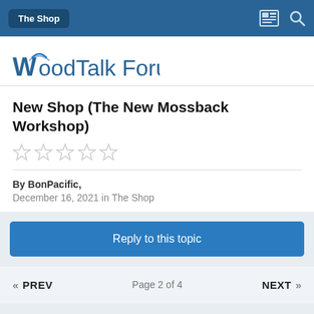The Shop
[Figure (logo): WoodTalk Forum logo with wifi-style arc over the W]
New Shop (The New Mossback Workshop)
☆☆☆☆☆
By BonPacific,
December 16, 2021 in The Shop
Reply to this topic
« PREV   Page 2 of 4   NEXT »